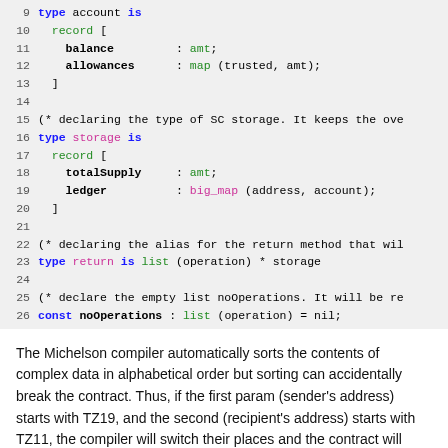[Figure (screenshot): Code block showing LIGO/SmartPy type definitions for account storage, return type, and noOperations constant, lines 9-26]
The Michelson compiler automatically sorts the contents of complex data in alphabetical order but sorting can accidentally break the contract. Thus, if the first param (sender's address) starts with TZ19, and the second (recipient's address) starts with TZ11, the compiler will switch their places and the contract will attempt to send tokens from the wrong contract